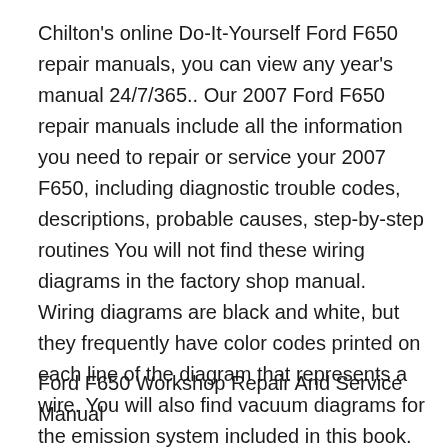Chilton's online Do-It-Yourself Ford F650 repair manuals, you can view any year's manual 24/7/365.. Our 2007 Ford F650 repair manuals include all the information you need to repair or service your 2007 F650, including diagnostic trouble codes, descriptions, probable causes, step-by-step routines You will not find these wiring diagrams in the factory shop manual. Wiring diagrams are black and white, but they frequently have color codes printed on each line of the diagram that represents a wire. You will also find vacuum diagrams for the emission system included in this book. This manual covers all 2007 Ford F-650 and F-750 models. This
Ford F650 Workshop Repair And Service Manual